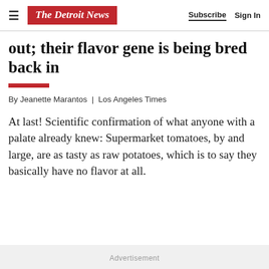The Detroit News | Subscribe | Sign In
out; their flavor gene is being bred back in
By Jeanette Marantos | Los Angeles Times
At last! Scientific confirmation of what anyone with a palate already knew: Supermarket tomatoes, by and large, are as tasty as raw potatoes, which is to say they basically have no flavor at all.
Advertisement